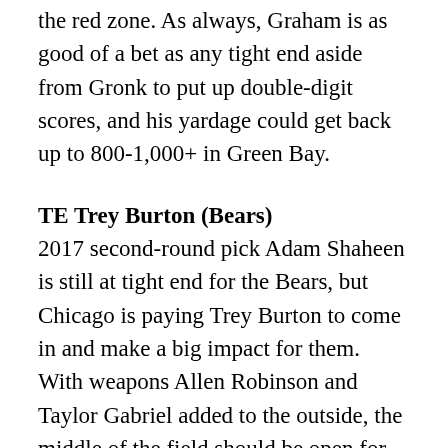the red zone. As always, Graham is as good of a bet as any tight end aside from Gronk to put up double-digit scores, and his yardage could get back up to 800-1,000+ in Green Bay.
TE Trey Burton (Bears)
2017 second-round pick Adam Shaheen is still at tight end for the Bears, but Chicago is paying Trey Burton to come in and make a big impact for them. With weapons Allen Robinson and Taylor Gabriel added to the outside, the middle of the field should be open for Mitchell Trubisky to connect with Burton. The former Eagles tight end could match his career totals